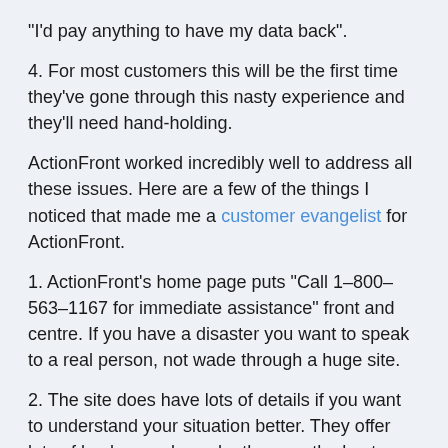“I’d pay anything to have my data back”.
4. For most customers this will be the first time they’ve gone through this nasty experience and they’ll need hand-holding.
ActionFront worked incredibly well to address all these issues. Here are a few of the things I noticed that made me a customer evangelist for ActionFront.
1. ActionFront’s home page puts “Call 1–1800–563–1167 for immediate assistance” front and centre. If you have a disaster you want to speak to a real person, not wade through a huge site.
2. The site does have lots of details if you want to understand your situation better. They offer lots of background on why they are the best, testimonials, etc. And they also offer specific information on types of drives, common points of failure and the